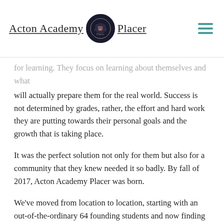Acton Academy Placer
for learning. They focus on learning about themselves and what will actually prepare them for the real world. Success is not determined by grades, rather, the effort and hard work they are putting towards their personal goals and the growth that is taking place.
It was the perfect solution not only for them but also for a community that they knew needed it so badly. By fall of 2017, Acton Academy Placer was born.
We've moved from location to location, starting with an out-of-the-ordinary 64 founding students and now finding our home in the heart of downtown Roseville with a student body of 130 young heroes.
The amount of community involvement both inside and outside of Acton Roseville has been truly humbling with